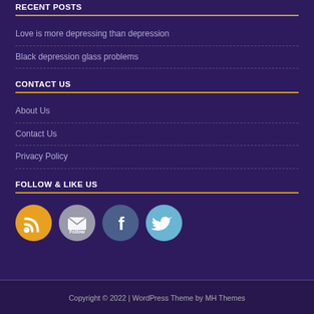RECENT POSTS
Love is more depressing than depression
Black depression glass problems
CONTACT US
About Us
Contact Us
Privacy Policy
FOLLOW & LIKE US
[Figure (illustration): Four social media icon buttons: RSS (orange circle), Follow/Email (grey circle), Facebook (dark blue circle with F), Twitter (light blue circle with bird)]
Copyright © 2022 | WordPress Theme by MH Themes